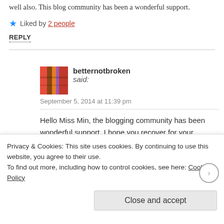well also. This blog community has been a wonderful support.
Liked by 2 people
REPLY
betternotbroken said:
September 5, 2014 at 11:39 pm
Hello Miss Min, the blogging community has been wonderful support, I hope you recover for your setback and return to the forward road of healing. It is the
Privacy & Cookies: This site uses cookies. By continuing to use this website, you agree to their use.
To find out more, including how to control cookies, see here: Cookie Policy
Close and accept